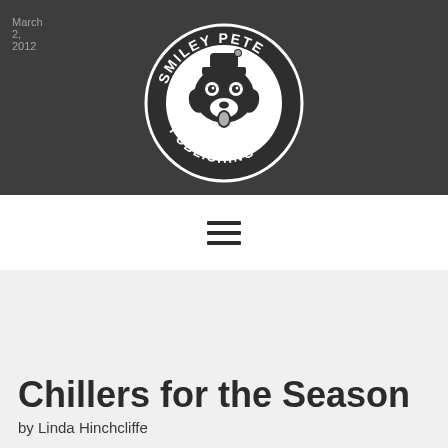March 2, 2012
[Figure (logo): Smiley Pete Publishing circular logo — a dog wearing a hat inside a dark circle with the text 'SMILEY PETE' on top and 'PUBLISHING' on bottom]
[Figure (other): Hamburger menu icon — three horizontal dark lines]
Chillers for the Season
by Linda Hinchcliffe